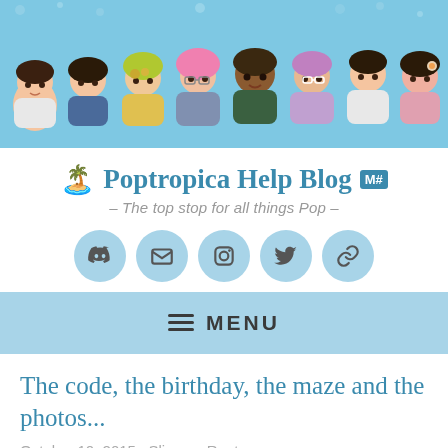[Figure (illustration): Header banner with cartoon Poptropica characters on a blue background]
🏝️ Poptropica Help Blog M - The top stop for all things Pop -
[Figure (infographic): Row of 5 social media icon circles: Discord, Email, Instagram, Twitter, Link]
≡ MENU
The code, the birthday, the maze and the photos...
October 10, 2015   Slippery Raptor